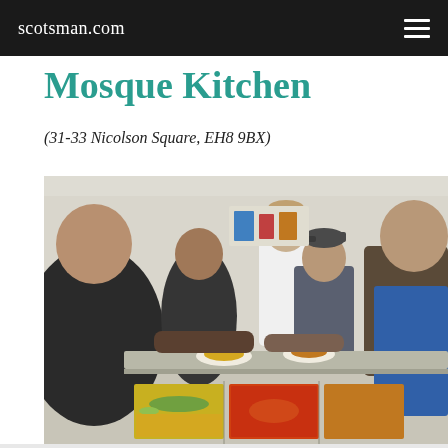scotsman.com
Mosque Kitchen
(31-33 Nicolson Square, EH8 9BX)
[Figure (photo): Workers serving food at a mosque kitchen buffet counter. Several men in aprons are handing plates of food to customers across a stainless steel serving counter with trays of various dishes including rice, curry and vegetables.]